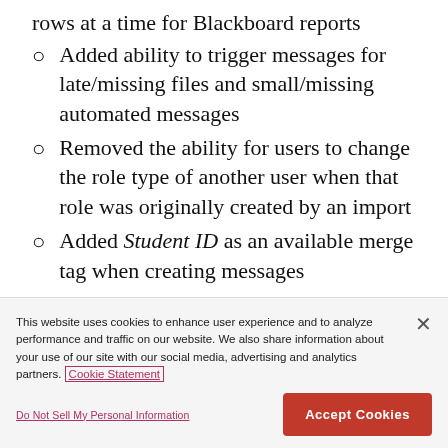rows at a time for Blackboard reports
Added ability to trigger messages for late/missing files and small/missing automated messages
Removed the ability for users to change the role type of another user when that role was originally created by an import
Added Student ID as an available merge tag when creating messages
This website uses cookies to enhance user experience and to analyze performance and traffic on our website. We also share information about your use of our site with our social media, advertising and analytics partners. Cookie Statement
Do Not Sell My Personal Information
Accept Cookies